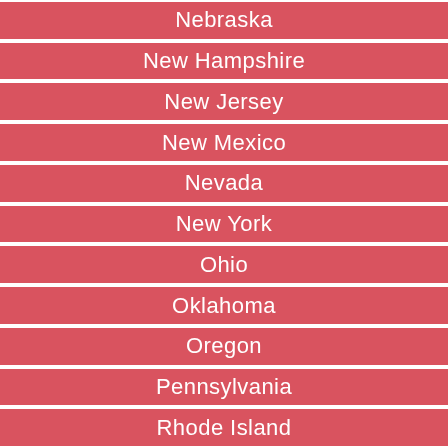Nebraska
New Hampshire
New Jersey
New Mexico
Nevada
New York
Ohio
Oklahoma
Oregon
Pennsylvania
Rhode Island